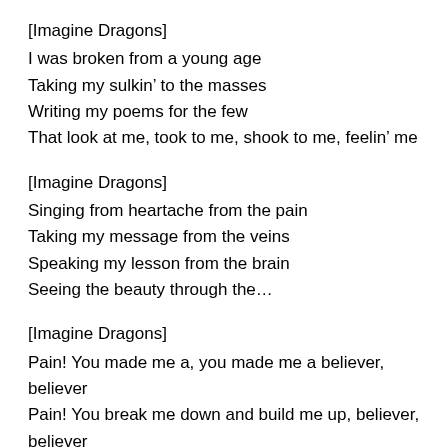[Imagine Dragons]
I was broken from a young age
Taking my sulkin’ to the masses
Writing my poems for the few
That look at me, took to me, shook to me, feelin’ me
[Imagine Dragons]
Singing from heartache from the pain
Taking my message from the veins
Speaking my lesson from the brain
Seeing the beauty through the…
[Imagine Dragons]
Pain! You made me a, you made me a believer, believer
Pain! You break me down and build me up, believer, believer